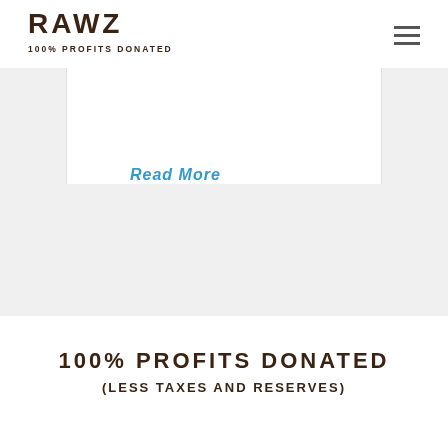RAWZ 100% PROFITS DONATED
Read More
100% PROFITS DONATED
(LESS TAXES AND RESERVES)